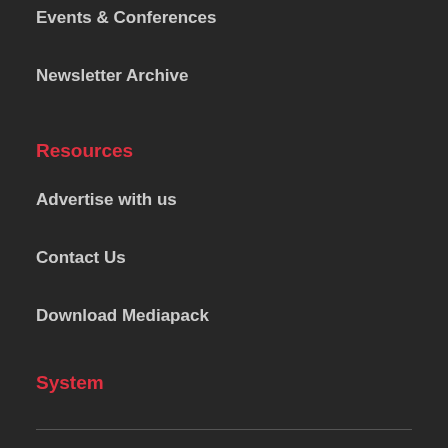Events & Conferences
Newsletter Archive
Resources
Advertise with us
Contact Us
Download Mediapack
System
Search
Sitemap
RSS Feed